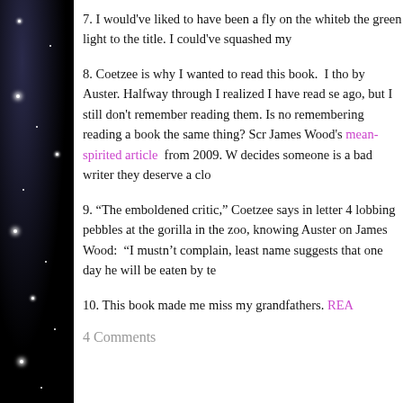7. I would've liked to have been a fly on the whiteb the green light to the title. I could've squashed my
8. Coetzee is why I wanted to read this book. I tho by Auster. Halfway through I realized I have read se ago, but I still don't remember reading them. Is no remembering reading a book the same thing? Scr James Wood's mean-spirited article from 2009. W decides someone is a bad writer they deserve a clo
9. “The emboldened critic,” Coetzee says in letter 4 lobbing pebbles at the gorilla in the zoo, knowing Auster on James Wood: “I mustn’t complain, least name suggests that one day he will be eaten by te
10. This book made me miss my grandfathers. REA
4 Comments